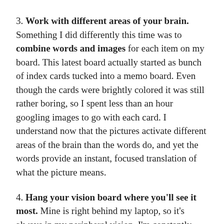3. Work with different areas of your brain. Something I did differently this time was to combine words and images for each item on my board. This latest board actually started as bunch of index cards tucked into a memo board. Even though the cards were brightly colored it was still rather boring, so I spent less than an hour googling images to go with each card. I understand now that the pictures activate different areas of the brain than the words do, and yet the words provide an instant, focused translation of what the picture means.
4. Hang your vision board where you'll see it most. Mine is right behind my laptop, so it's always in my peripheral vision. I'm constantly reactivating the attractive energy of the board, whether it's by accident or I intentionally scan and read the cards on the board. Desks, kitchens, and above your TV